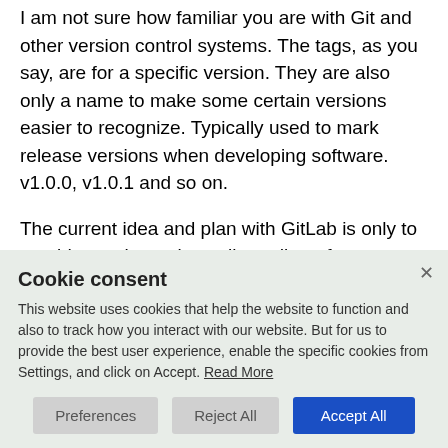I am not sure how familiar you are with Git and other version control systems. The tags, as you say, are for a specific version. They are also only a name to make some certain versions easier to recognize. Typically used to mark release versions when developing software. v1.0.0, v1.0.1 and so on.

The current idea and plan with GitLab is only to provide an alternative online editor of source code, where certain users also can edit other persons scripts. By having it in Git we get
Cookie consent
This website uses cookies that help the website to function and also to track how you interact with our website. But for us to provide the best user experience, enable the specific cookies from Settings, and click on Accept. Read More
Preferences  Reject All  Accept All